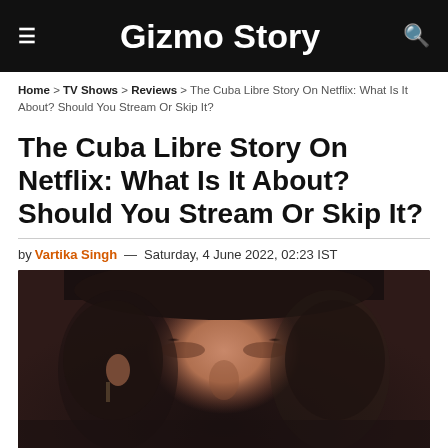Gizmo Story
Home > TV Shows > Reviews > The Cuba Libre Story On Netflix: What Is It About? Should You Stream Or Skip It?
The Cuba Libre Story On Netflix: What Is It About? Should You Stream Or Skip It?
by Vartika Singh — Saturday, 4 June 2022, 02:23 IST
[Figure (photo): Close-up photo of a man's face with dark beard and intense expression, from a scene related to The Cuba Libre Story on Netflix]